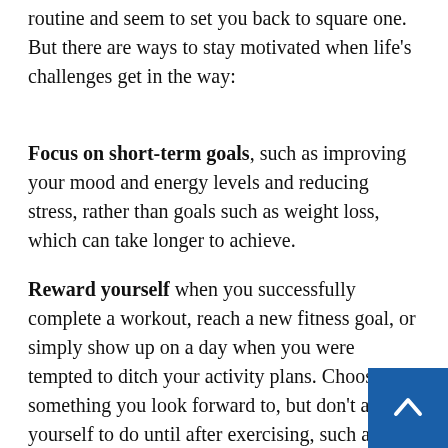routine and seem to set you back to square one. But there are ways to stay motivated when life's challenges get in the way:
Focus on short-term goals, such as improving your mood and energy levels and reducing stress, rather than goals such as weight loss, which can take longer to achieve.
Reward yourself when you successfully complete a workout, reach a new fitness goal, or simply show up on a day when you were tempted to ditch your activity plans. Choose something you look forward to, but don't allow yourself to do until after exercising, such as having a hot bath or a favorite cup of coffee.
Keep a log. Writing down your activities in an exercise journal not only holds you accountable, but